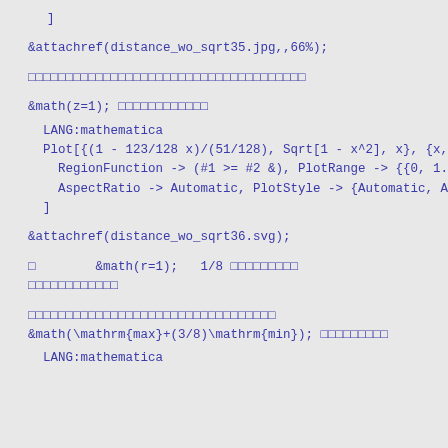]
&attachref(distance_wo_sqrt35.jpg,,66%);
□□□□□□□□□□□□□□□□□□□□□□□□□□□□□□□□□□□
&math(z=1); □□□□□□□□□□□□
LANG:mathematica
  Plot[{(1 - 123/128 x)/(51/128), Sqrt[1 - x^2], x}, {x, 0,
    RegionFunction -> (#1 >= #2 &), PlotRange -> {{0, 1.1},
    AspectRatio -> Automatic, PlotStyle -> {Automatic, Auto
  ]
&attachref(distance_wo_sqrt36.svg);
□        &math(r=1);   1/8 □□□□□□□□□
□□□□□□□□□□□□
□□□□□□□□□□□□□□□□□□□□□□□□□□□□□□□□
&math(\mathrm{max}+(3/8)\mathrm{min}); □□□□□□□□□
LANG:mathematica